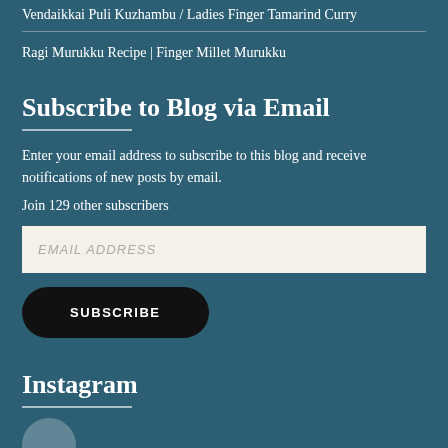Vendaikkai Puli Kuzhambu / Ladies Finger Tamarind Curry
Ragi Murukku Recipe | Finger Millet Murukku
Subscribe to Blog via Email
Enter your email address to subscribe to this blog and receive notifications of new posts by email.
Join 129 other subscribers
EMAIL ADDRESS
SUBSCRIBE
Instagram